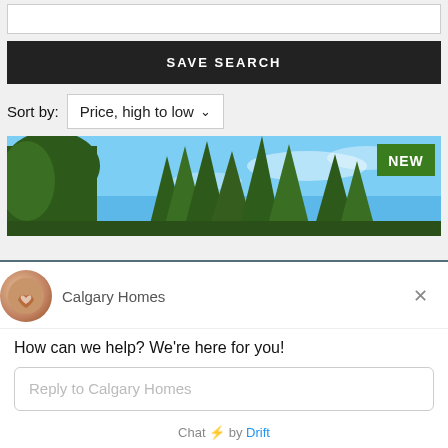[Figure (screenshot): Input box at top of page]
SAVE SEARCH
Sort by: Price, high to low
[Figure (photo): Real estate property photo showing tall evergreen trees against a blue sky with a NEW badge in the top right corner]
Calgary Homes
How can we help? We're here for you!
Reply to Calgary Homes
Chat ⚡ by Drift